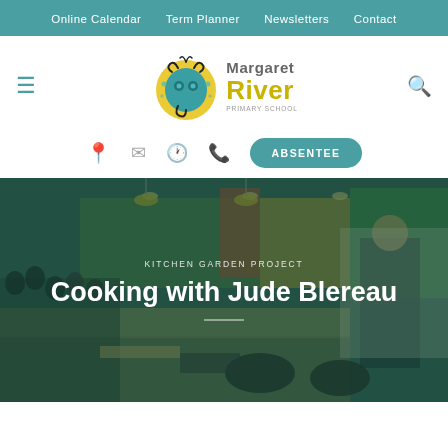Online Calendar   Term Planner   Newsletters   Contact
[Figure (logo): Margaret River Primary School logo with decorative circular emblem and school name]
ABSENTEE (button)
[Figure (photo): Photo of a kitchen classroom setting with students watching a cooking demonstration. Green and orange colored walls visible in background. A presenter is at the front near cooking equipment.]
KITCHEN GARDEN PROJECT
Cooking with Jude Blereau